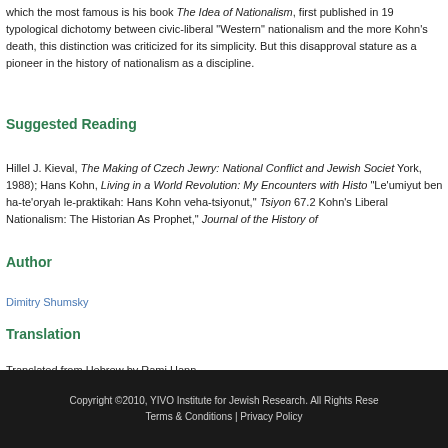which the most famous is his book The Idea of Nationalism, first published in 19 typological dichotomy between civic-liberal "Western" nationalism and the more Kohn's death, this distinction was criticized for its simplicity. But this disapproval stature as a pioneer in the history of nationalism as a discipline.
Suggested Reading
Hillel J. Kieval, The Making of Czech Jewry: National Conflict and Jewish Societ York, 1988); Hans Kohn, Living in a World Revolution: My Encounters with Histo “Le’umiyut ben ha-te’oryah le-praktikah: Hans Kohn veha-tsiyonut,” Tsiyon 67.2 Kohn’s Liberal Nationalism: The Historian As Prophet,” Journal of the History of
Author
Dimitry Shumsky
Translation
Translated from Hebrew by Rami Hann
Copyright ©2010, YIVO Institute for Jewish Research. All Rights Rese Terms & Conditions | Privacy Policy